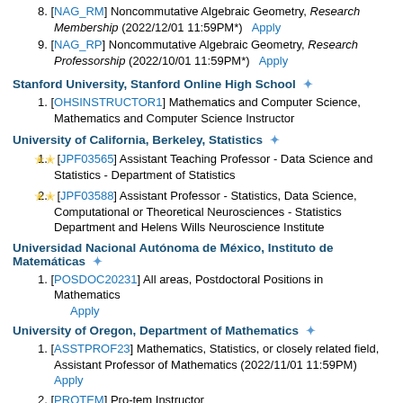8. [NAG_RM] Noncommutative Algebraic Geometry, Research Membership (2022/12/01 11:59PM*)  Apply
9. [NAG_RP] Noncommutative Algebraic Geometry, Research Professorship (2022/10/01 11:59PM*)  Apply
Stanford University, Stanford Online High School
1. [OHSINSTRUCTOR1] Mathematics and Computer Science, Mathematics and Computer Science Instructor
University of California, Berkeley, Statistics
1. [JPF03565] Assistant Teaching Professor - Data Science and Statistics - Department of Statistics
2. [JPF03588] Assistant Professor - Statistics, Data Science, Computational or Theoretical Neurosciences - Statistics Department and Helens Wills Neuroscience Institute
Universidad Nacional Autónoma de México, Instituto de Matemáticas
1. [POSDOC20231] All areas, Postdoctoral Positions in Mathematics  Apply
University of Oregon, Department of Mathematics
1. [ASSTPROF23] Mathematics, Statistics, or closely related field, Assistant Professor of Mathematics (2022/11/01 11:59PM)  Apply
2. [PROTEM] Pro-tem Instructor